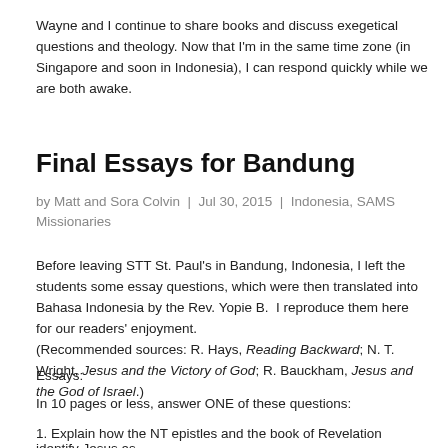Wayne and I continue to share books and discuss exegetical questions and theology. Now that I'm in the same time zone (in Singapore and soon in Indonesia), I can respond quickly while we are both awake.
Final Essays for Bandung
by Matt and Sora Colvin | Jul 30, 2015 | Indonesia, SAMS Missionaries
Before leaving STT St. Paul's in Bandung, Indonesia, I left the students some essay questions, which were then translated into Bahasa Indonesia by the Rev. Yopie B. I reproduce them here for our readers' enjoyment. (Recommended sources: R. Hays, Reading Backward; N. T. Wright, Jesus and the Victory of God; R. Bauckham, Jesus and the God of Israel.)
Essays:
In 10 pages or less, answer ONE of these questions:
1. Explain how the NT epistles and the book of Revelation identify Jesus as